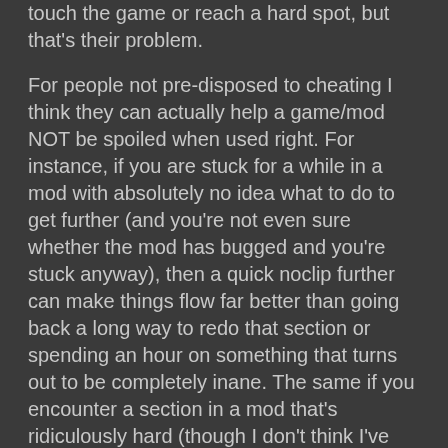touch the game or reach a hard spot, but that's their problem.
For people not pre-disposed to cheating I think they can actually help a game/mod NOT be spoiled when used right. For instance, if you are stuck for a while in a mod with absolutely no idea what to do to get further (and you're not even sure whether the mod has bugged and you're stuck anyway), then a quick noclip further can make things flow far better than going back a long way to redo that section or spending an hour on something that turns out to be completely inane. The same if you encounter a section in a mod that's ridiculously hard (though I don't think I've had to god more than once or twice in the hundreds of maps I've played).